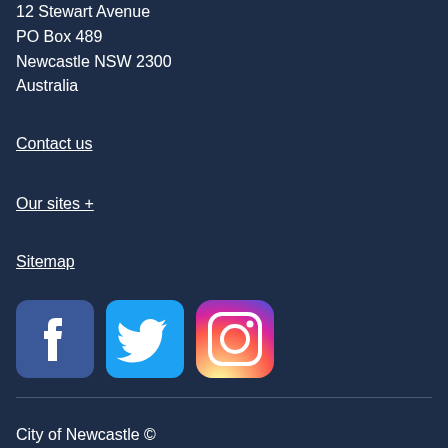12 Stewart Avenue
PO Box 489
Newcastle NSW 2300
Australia
Contact us
Our sites +
Sitemap
[Figure (logo): Facebook, Twitter, and Instagram social media icons]
City of Newcastle ©